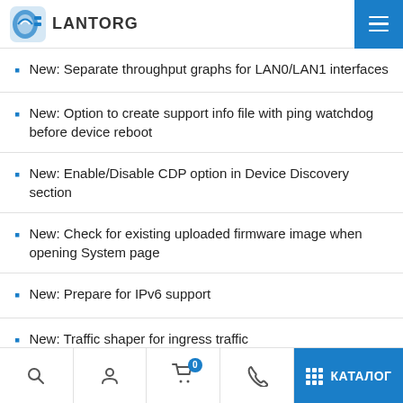LANTORG
New: Separate throughput graphs for LAN0/LAN1 interfaces
New: Option to create support info file with ping watchdog before device reboot
New: Enable/Disable CDP option in Device Discovery section
New: Check for existing uploaded firmware image when opening System page
New: Prepare for IPv6 support
New: Traffic shaper for ingress traffic
КАТАЛОГ